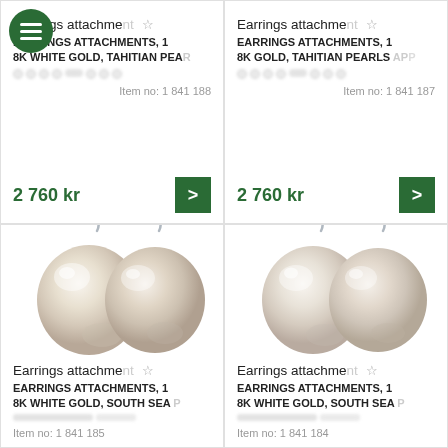[Figure (screenshot): Product listing card top-left: Earrings attachment, EARRINGS ATTACHMENTS, 18K white gold, Tahitian pearl. Item no: 1 841 188. Price: 2 760 kr.]
[Figure (screenshot): Product listing card top-right: Earrings attachment, EARRINGS ATTACHMENTS, 18K gold, Tahitian pearls. Item no: 1 841 187. Price: 2 760 kr.]
[Figure (photo): Two white/cream South Sea pearl drop earrings with silver hooks, photographed on white background (bottom-left card).]
Earrings attachment ☆
EARRINGS ATTACHMENTS, 18K white gold, South Sea p...
Item no: 1 841 185
[Figure (photo): Two white/cream South Sea pearl drop earrings with silver hooks, photographed on white background (bottom-right card).]
Earrings attachment ☆
EARRINGS ATTACHMENTS, 18K white gold, South Sea p...
Item no: 1 841 184